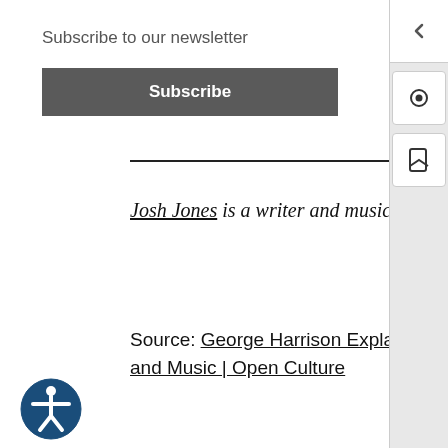Subscribe to our newsletter
Subscribe
Josh Jones is a writer and musician based in Durham, NC. Follow him at @jdmagness
Source: George Harrison Explains Why Everyone Should Play the Ukulele, With Words and Music | Open Culture
[Figure (other): Accessibility icon (person in circle)]